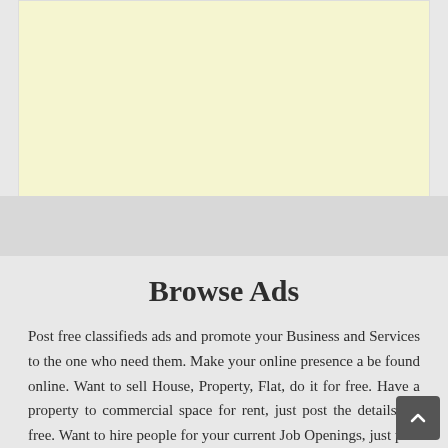[Figure (other): Light yellow advertisement banner placeholder]
Browse Ads
Post free classifieds ads and promote your Business and Services to the one who need them. Make your online presence a be found online. Want to sell House, Property, Flat, do it for free. Have a property to commercial space for rent, just post the details for free. Want to hire people for your current Job Openings, just post the details of the job opening for free. Want to buy or sell, or looking for any services or want to promote your on going offers, just post the details for free. If you face